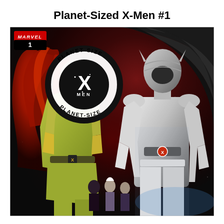Planet-Sized X-Men #1
[Figure (illustration): Comic book cover for Planet-Sized X-Men #1 published by Marvel. Features a circular 'Planet-Size X-Men' logo in the upper-left area, with a red-haired female character (Jean Grey) in a yellow-green costume on the left and Magneto in white armor on the right, set against a dark red/space background. Small additional characters appear at the bottom center.]